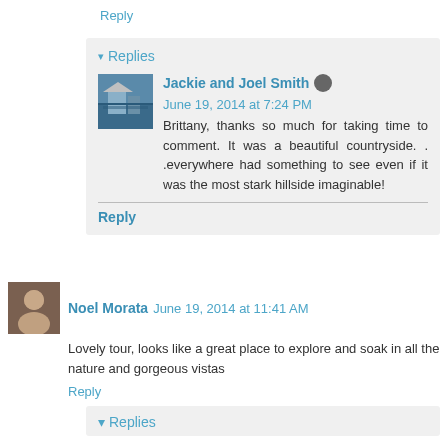Reply
▾ Replies
Jackie and Joel Smith  June 19, 2014 at 7:24 PM
Brittany, thanks so much for taking time to comment. It was a beautiful countryside. . .everywhere had something to see even if it was the most stark hillside imaginable!
Reply
Noel Morata  June 19, 2014 at 11:41 AM
Lovely tour, looks like a great place to explore and soak in all the nature and gorgeous vistas
Reply
▾ Replies